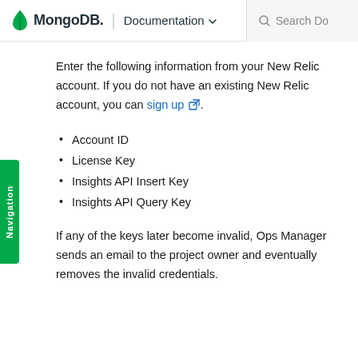MongoDB. | Documentation  Search Do
Enter the following information from your New Relic account. If you do not have an existing New Relic account, you can sign up.
Account ID
License Key
Insights API Insert Key
Insights API Query Key
If any of the keys later become invalid, Ops Manager sends an email to the project owner and eventually removes the invalid credentials.